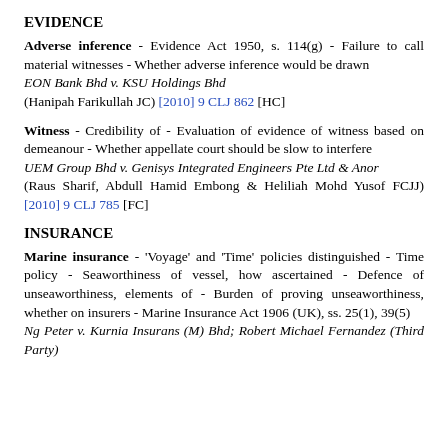EVIDENCE
Adverse inference - Evidence Act 1950, s. 114(g) - Failure to call material witnesses - Whether adverse inference would be drawn
EON Bank Bhd v. KSU Holdings Bhd
(Hanipah Farikullah JC) [2010] 9 CLJ 862 [HC]
Witness - Credibility of - Evaluation of evidence of witness based on demeanour - Whether appellate court should be slow to interfere
UEM Group Bhd v. Genisys Integrated Engineers Pte Ltd & Anor
(Raus Sharif, Abdull Hamid Embong & Heliliah Mohd Yusof FCJJ) [2010] 9 CLJ 785 [FC]
INSURANCE
Marine insurance - 'Voyage' and 'Time' policies distinguished - Time policy - Seaworthiness of vessel, how ascertained - Defence of unseaworthiness, elements of - Burden of proving unseaworthiness, whether on insurers - Marine Insurance Act 1906 (UK), ss. 25(1), 39(5)
Ng Peter v. Kurnia Insurans (M) Bhd; Robert Michael Fernandez (Third Party)